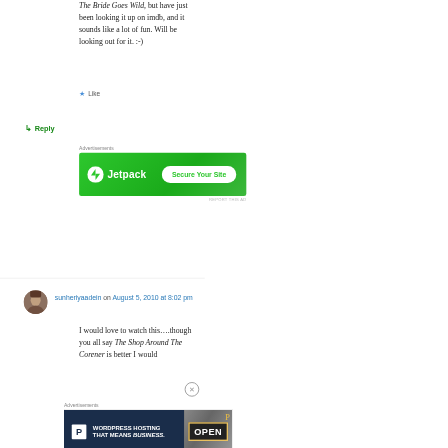The Bride Goes Wild, but have just been looking it up on imdb, and it sounds like a lot of fun. Will be looking out for it. :-)
★ Like
↳ Reply
Advertisements
[Figure (screenshot): Jetpack advertisement banner with green background showing Jetpack logo and 'Secure Your Site' button]
REPORT THIS AD
sunheriyaadein on August 5, 2010 at 8:02 pm
I would love to watch this….though you all say The Shop Around The Corener is better I would
Advertisements
[Figure (screenshot): WordPress Hosting advertisement banner with dark navy background, P logo, tagline 'WordPress Hosting That Means Business.' and an OPEN sign photo]